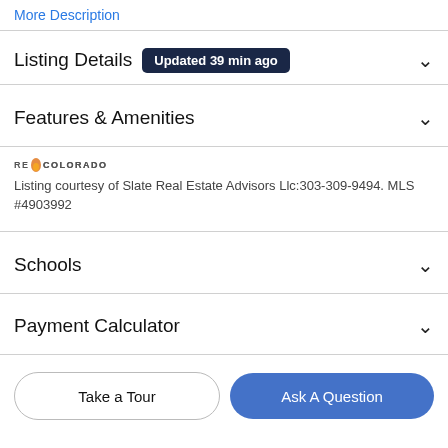More Description
Listing Details  Updated 39 min ago
Features & Amenities
[Figure (logo): REColorado logo with flame icon]
Listing courtesy of Slate Real Estate Advisors Llc:303-309-9494. MLS #4903992
Schools
Payment Calculator
Take a Tour
Ask A Question